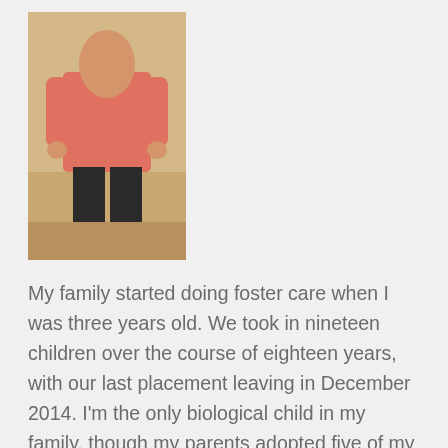[Figure (photo): Person standing wearing a pink/coral top and dark pants, photographed indoors]
My family started doing foster care when I was three years old. We took in nineteen children over the course of eighteen years, with our last placement leaving in December 2014. I'm the only biological child in my family, though my parents adopted five of my siblings.
I love to share my perspective on the foster care system and share how my unique upbringing shaped my life.
I'm also a Cast Member at Walt Disney World and lover of all things Disney! My career allows me the opportunity